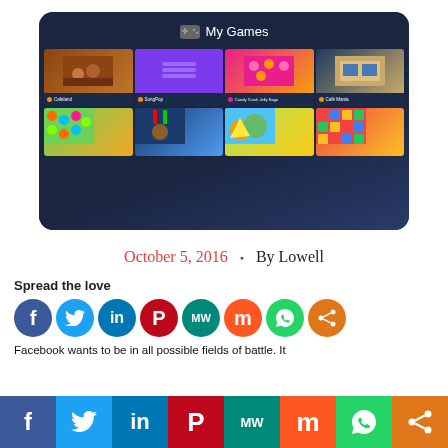[Figure (screenshot): Facebook 'My Games' page screenshot showing a dark blue interface with a game controller icon, 'My Games' heading, and a grid of 8 game thumbnails including Cafeland, SongPop, Candy Crush Jelly Saga, Café Mania, Candy Crush Saga, and others.]
October 5, 2016  •  By Lowell
Spread the love
[Figure (infographic): Row of social media share buttons: Facebook, Twitter, LinkedIn, Pinterest, MeWe, Mix, WhatsApp, Share]
Facebook wants to be in all possible fields of battle. It
[Figure (infographic): Bottom social share bar with icons for Facebook, Twitter, LinkedIn, Pinterest, MeWe, Mix, WhatsApp, Share]